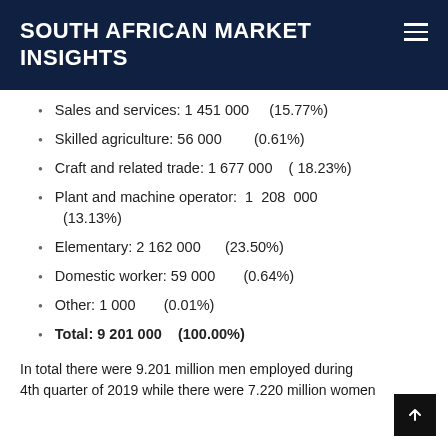SOUTH AFRICAN MARKET INSIGHTS
Sales and services: 1 451 000    (15.77%)
Skilled agriculture: 56 000       (0.61%)
Craft and related trade: 1 677 000    ( 18.23%)
Plant and machine operator: 1 208 000    (13.13%)
Elementary: 2 162 000     (23.50%)
Domestic worker: 59 000      (0.64%)
Other: 1 000     (0.01%)
Total: 9 201 000    (100.00%)
In total there were 9.201 million men employed during the 4th quarter of 2019 while there were 7.220 million women